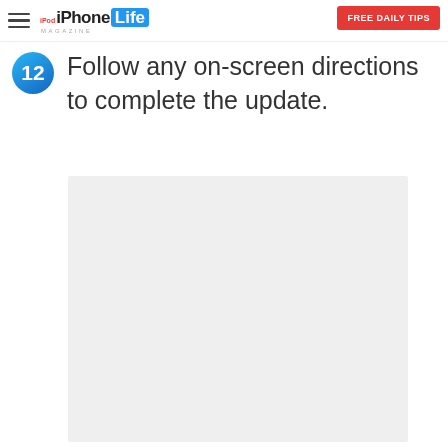iPhone Life Magazine — FREE DAILY TIPS
12  Follow any on-screen directions to complete the update.
[Figure (other): Light grey placeholder image box, no visible content.]